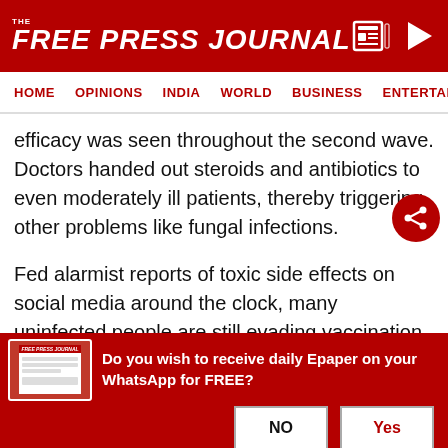THE FREE PRESS JOURNAL
HOME   OPINIONS   INDIA   WORLD   BUSINESS   ENTERTAIN
efficacy was seen throughout the second wave. Doctors handed out steroids and antibiotics to even moderately ill patients, thereby triggering other problems like fungal infections.
Fed alarmist reports of toxic side effects on social media around the clock, many uninfected people are still evading vaccination, thereby putting themselves and others at risk. The government's own Press Information Bureau (PIB) did not help matters by
Do you wish to receive daily Epaper on your WhatsApp for FREE?